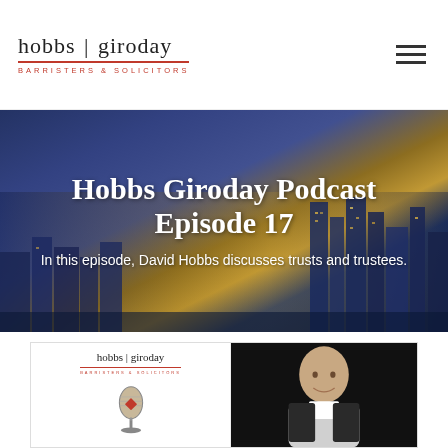hobbs | giroday BARRISTERS & SOLICITORS
Hobbs Giroday Podcast Episode 17
In this episode, David Hobbs discusses trusts and trustees.
[Figure (photo): Podcast thumbnail showing the hobbs|giroday logo with a microphone on the left, and a headshot photo of David Hobbs (older bald man smiling) on the right against a dark background.]